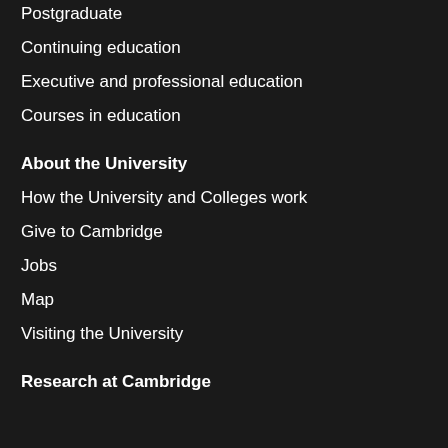Postgraduate
Continuing education
Executive and professional education
Courses in education
About the University
How the University and Colleges work
Give to Cambridge
Jobs
Map
Visiting the University
Research at Cambridge